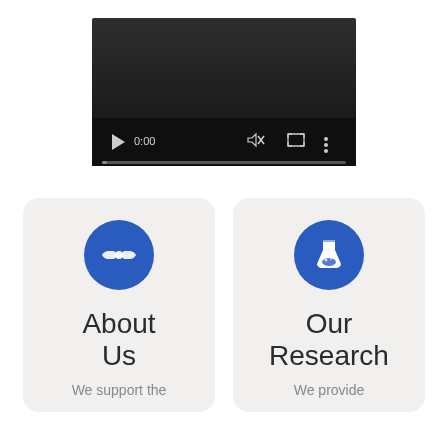[Figure (screenshot): A video player with dark background showing playback controls: play button, time display '0:00', mute icon, fullscreen icon, more options icon, and a progress bar at the bottom.]
[Figure (infographic): Two cards side by side. Left card has blue circle with handshake icon and title 'About Us' with text 'We support the'. Right card has blue circle with flask/beaker icon and title 'Our Research' with text 'We provide'.]